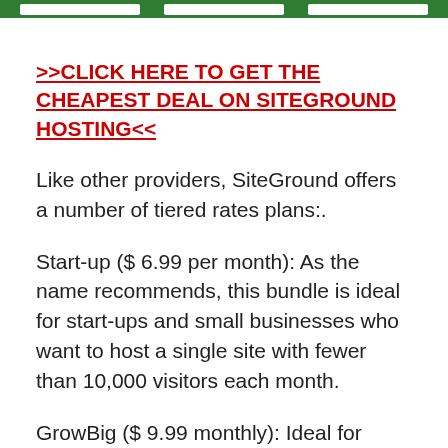[Figure (other): Green header bar with three white button shapes]
>>CLICK HERE TO GET THE CHEAPEST DEAL ON SITEGROUND HOSTING<<
Like other providers, SiteGround offers a number of tiered rates plans:.
Start-up ($ 6.99 per month): As the name recommends, this bundle is ideal for start-ups and small businesses who want to host a single site with fewer than 10,000 visitors each month.
GrowBig ($ 9.99 monthly): Ideal for bigger companies with several websites that might see as much as 25,000 visitors per month.